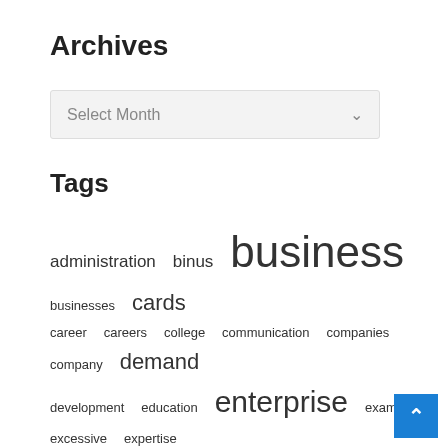Archives
Select Month
Tags
administration binus business businesses cards career careers college communication companies company demand development education enterprise examine excessive expertise export growth health improvement india industrial information international japanese launches leadership leisure management online plans research service small solutions strategy study technology three travel triathlon worldwide